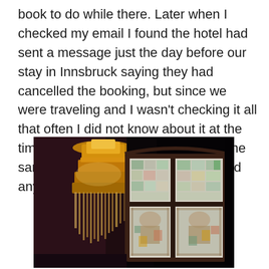book to do while there. Later when I checked my email I found the hotel had sent a message just the day before our stay in Innsbruck saying they had cancelled the booking, but since we were traveling and I wasn't checking it all that often I did not know about it at the time. All our hotels were booked on the same card and none of the others had any issues.
[Figure (photo): Dark interior photo showing a tiered crystal/glass chandelier on the left side and a stained glass window with colorful geometric and decorative panels in the center, set against a very dark background.]